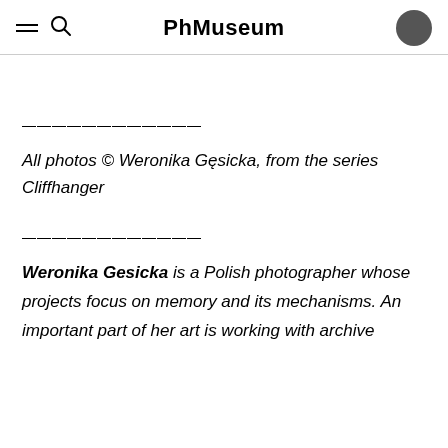PhMuseum
———————
All photos © Weronika Gęsicka, from the series Cliffhanger
———————
Weronika Gesicka is a Polish photographer whose projects focus on memory and its mechanisms. An important part of her art is working with archive